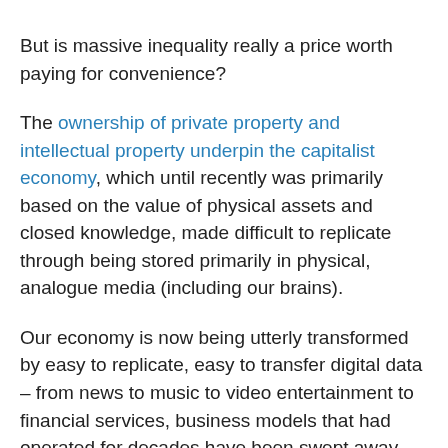But is massive inequality really a price worth paying for convenience?
The ownership of private property and intellectual property underpin the capitalist economy, which until recently was primarily based on the value of physical assets and closed knowledge, made difficult to replicate through being stored primarily in physical, analogue media (including our brains).
Our economy is now being utterly transformed by easy to replicate, easy to transfer digital data – from news to music to video entertainment to financial services, business models that had operated for decades have been swept away and replaced by models that are constantly adapting, driven by advances in technology.